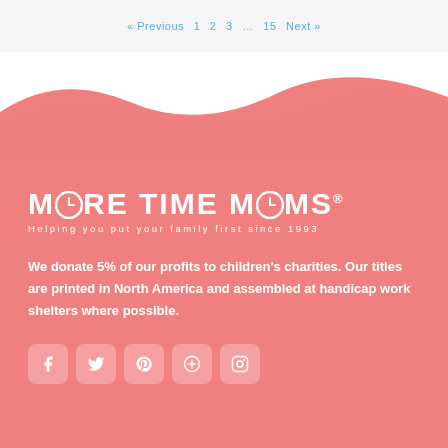« Previous  1  2  3  …  15  Next »
[Figure (illustration): White section with pink wave SVG transitioning to pink footer background]
MORE TIME MOMS®
Helping you put your family first since 1993
We donate 5% of our profits to children's charities. Our titles are printed in North America and assembled at handicap work shelters where possible.
[Figure (illustration): Row of five social media icon buttons: Facebook, Twitter, Pinterest, other, Instagram]